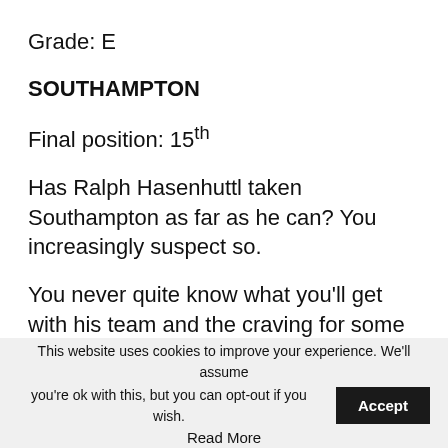Grade: E
SOUTHAMPTON
Final position: 15th
Has Ralph Hasenhuttl taken Southampton as far as he can? You increasingly suspect so.
You never quite know what you'll get with his team and the craving for some consistency of performances and results could well lead to a change this summer.
This website uses cookies to improve your experience. We'll assume you're ok with this, but you can opt-out if you wish. Accept Read More